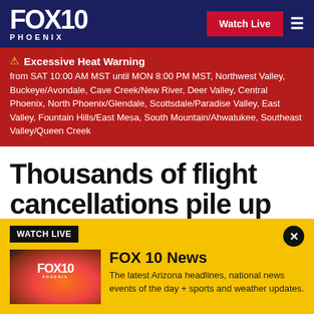FOX 10 PHOENIX
Excessive Heat Warning from SAT 10:00 AM MST until MON 8:00 PM MST, Northwest Valley, Buckeye/Avondale, Cave Creek/New River, Deer Valley, Central Phoenix, North Phoenix/Glendale, Scottsdale/Paradise Valley, East Valley, Fountain Hills/East Mesa, South Mountain/Ahwatukee, Southeast Valley/Queen Creek
Thousands of flight cancellations pile up on Memorial Day weekend
[Figure (screenshot): FOX 10 News watch live panel with thumbnail showing FOX 10 Phoenix logo over a sunset background]
FOX 10 News
The latest Arizona headlines, national news events of the day + sports and weather updates.